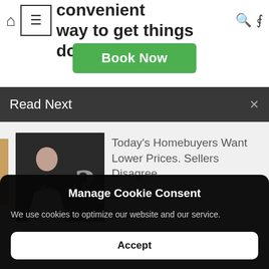the fast and convenient way to get things done
Book Now
Read Next
[Figure (photo): Woman looking thoughtful next to a large question mark on dark background]
Today's Homebuyers Want Lower Prices. Sellers Disagree.
Manage Cookie Consent
We use cookies to optimize our website and our service.
Accept